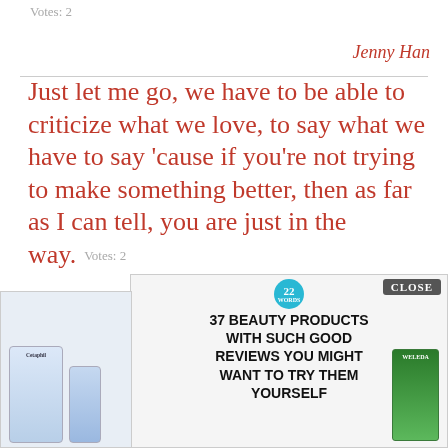Votes: 2
Jenny Han
Just let me go, we have to be able to criticize what we love, to say what we have to say 'cause if you're not trying to make something better, then as far as I can tell, you are just in the way.  Votes: 2
Ani DiFranco
I could, I think, quite easily have gone to Oxford. I got four good A levels, but my father's income was such that I wouldn't have got a grant, ... sity, and th... Baker
[Figure (screenshot): Advertisement overlay showing '37 BEAUTY PRODUCTS WITH SUCH GOOD REVIEWS YOU MIGHT WANT TO TRY THEM YOURSELF' with product images of Cetaphil and Weleda, a CLOSE button, and a badge showing '22']